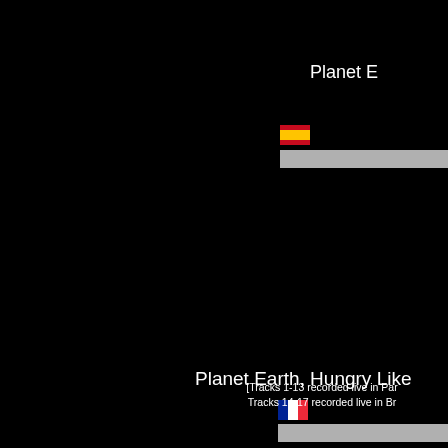Planet E
[Figure (illustration): Spanish flag icon]
[Figure (illustration): Gray progress/rating bar]
Planet Earth, Hungry Like
[Figure (illustration): French flag icon]
[Figure (illustration): Gray progress/rating bar]
[Tracks 1-13 recorded live in Par Tracks 14-17 recorded live in Br